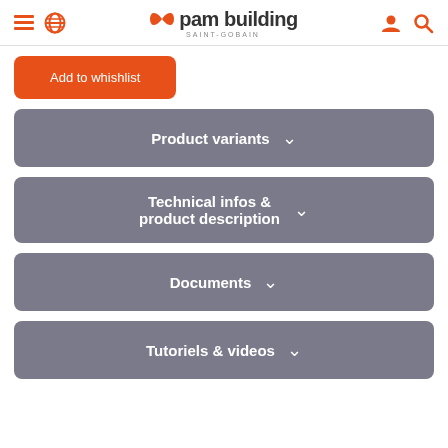pam building SAINT-GOBAIN
Add to whishlist
Product variants
Technical infos & product description
Documents
Tutoriels & videos